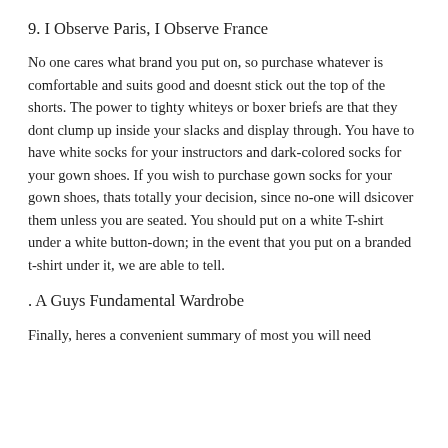9. I Observe Paris, I Observe France
No one cares what brand you put on, so purchase whatever is comfortable and suits good and doesnt stick out the top of the shorts. The power to tighty whiteys or boxer briefs are that they dont clump up inside your slacks and display through. You have to have white socks for your instructors and dark-colored socks for your gown shoes. If you wish to purchase gown socks for your gown shoes, thats totally your decision, since no-one will dsicover them unless you are seated. You should put on a white T-shirt under a white button-down; in the event that you put on a branded t-shirt under it, we are able to tell.
. A Guys Fundamental Wardrobe
Finally, heres a convenient summary of most you will need